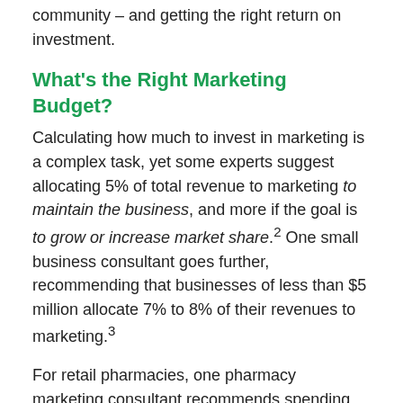community – and getting the right return on investment.
What's the Right Marketing Budget?
Calculating how much to invest in marketing is a complex task, yet some experts suggest allocating 5% of total revenue to marketing to maintain the business, and more if the goal is to grow or increase market share.2 One small business consultant goes further, recommending that businesses of less than $5 million allocate 7% to 8% of their revenues to marketing.3
For retail pharmacies, one pharmacy marketing consultant recommends spending 1.5% to 2.5% of gross sales on marketing.4
What Are Pharmacy Owners Actually Spending?
The 2013 NCPA Financial Digest shows that pharmacies spend on average just 0.4% of sales on advertising, which is a major component of marketing.5 And another